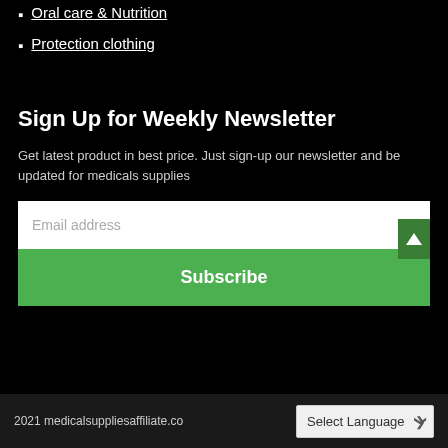Oral care & Nutrition
Protection clothing
Sign Up for Weekly Newsletter
Get latest product in best price. Just sign-up our newsletter and be updated for medicals supplies
Email address
Subscribe
2021 medicalsuppliesaffiliate.co  Select Language